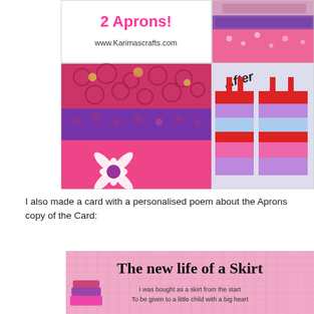[Figure (photo): Collage of apron images: top-left shows text '2 Aprons!' in pink with www.Karimascrafts.com, top-right shows a purple and pink tiered skirt apron, bottom-left shows close-up of pink floral fabric apron with daisy applique, bottom-right shows 'After' label with two finished halter aprons in pink, purple and red]
I also made a card with a personalised poem about the Aprons copy of the Card:
[Figure (photo): Pink card with title 'The new life of a Skirt' in black handwritten font, with an illustration of a skirt and poem text: 'I was bought as a skirt from the start / To be given to a little child with a big heart']